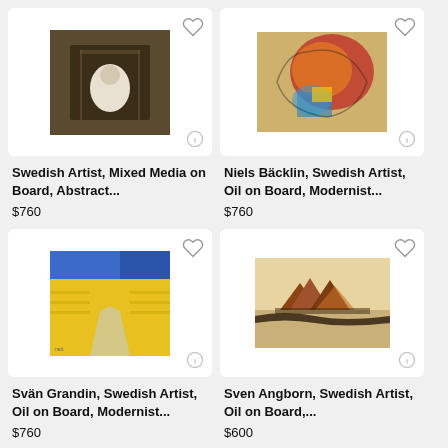[Figure (photo): Artwork: Swedish Artist, Mixed Media on Board, Abstract - dark toned painting with white form in center, displayed in a wooden box]
Swedish Artist, Mixed Media on Board, Abstract...
$760
[Figure (photo): Artwork: Niels Bäcklin, Swedish Artist, Oil on Board, Modernist - colorful painting with red, orange, blue tones, abstract horse-like figure]
Niels Bäcklin, Swedish Artist, Oil on Board, Modernist...
$760
[Figure (photo): Artwork: Svän Grandin, Swedish Artist, Oil on Board, Modernist - yellow and blue landscape painting]
Svän Grandin, Swedish Artist, Oil on Board, Modernist...
$760
[Figure (photo): Artwork: Sven Angborn, Swedish Artist, Oil on Board - brown landscape with dark mountains/haystacks on light background]
Sven Angborn, Swedish Artist, Oil on Board,...
$600